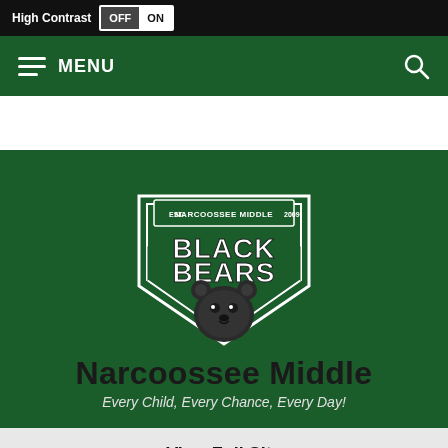High Contrast OFF ON
MENU
[Figure (logo): Narcoossee Middle Black Bears shield logo with bear mascot, est. 2009]
Narcoossee Middle
Every Child, Every Chance, Every Day!
View Full Site